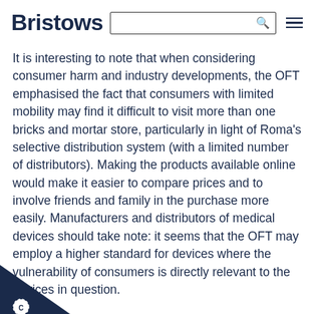Bristows
It is interesting to note that when considering consumer harm and industry developments, the OFT emphasised the fact that consumers with limited mobility may find it difficult to visit more than one bricks and mortar store, particularly in light of Roma's selective distribution system (with a limited number of distributors). Making the products available online would make it easier to compare prices and to involve friends and family in the purchase more easily. Manufacturers and distributors of medical devices should take note: it seems that the OFT may employ a higher standard for devices where the vulnerability of consumers is directly relevant to the devices in question.